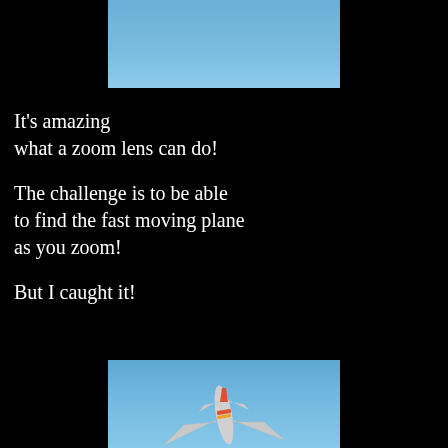[Figure (photo): Blue sky photo, top portion, showing clear blue sky with no visible aircraft]
It's amazing
what a zoom lens can do!

The challenge is to be able
to find the fast moving plane
as you zoom!

But I caught it!
[Figure (photo): Blue sky photo, bottom portion, showing a commercial airplane (Southwest Airlines) photographed from below against blue sky, wings and tail visible]